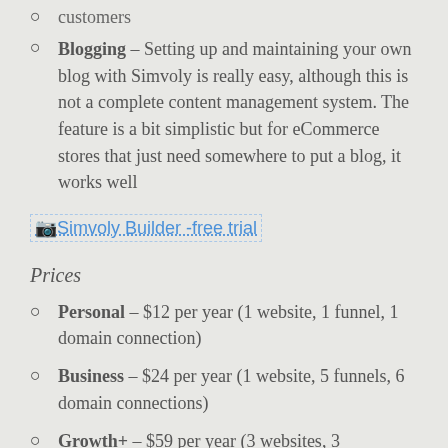customers
Blogging – Setting up and maintaining your own blog with Simvoly is really easy, although this is not a complete content management system. The feature is a bit simplistic but for eCommerce stores that just need somewhere to put a blog, it works well
[Figure (other): Simvoly Builder -free trial button/image link]
Prices
Personal – $12 per year (1 website, 1 funnel, 1 domain connection)
Business – $24 per year (1 website, 5 funnels, 6 domain connections)
Growth+ – $59 per year (3 websites, 3